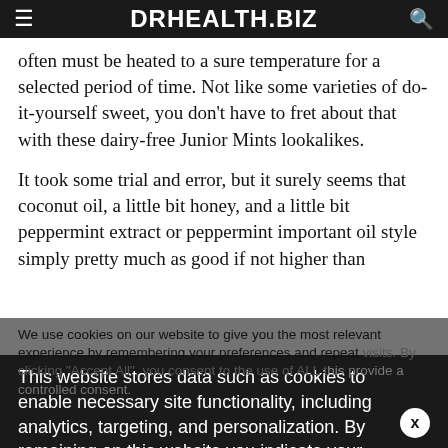DRHEALTH.BIZ
often must be heated to a sure temperature for a selected period of time. Not like some varieties of do-it-yourself sweet, you don’t have to fret about that with these dairy-free Junior Mints lookalikes.
It took some trial and error, but it surely seems that coconut oil, a little bit honey, and a little bit peppermint extract or peppermint important oil style simply pretty much as good if not higher than
We use cookies on our website to give you the most relevant experience by remembering your preferences and repeat visits. By clicking “Accept All”, you consent to the use of ALL the cookies. However, you may visit “Cookie Settings” to provide a controlled consent.
This website stores data such as cookies to enable necessary site functionality, including analytics, targeting, and personalization. By remaining on this website you indicate your consent Cookie Policy